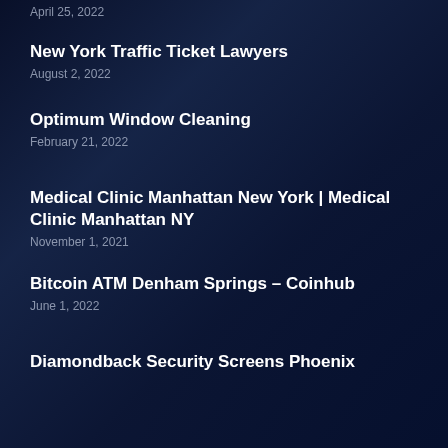April 25, 2022
New York Traffic Ticket Lawyers
August 2, 2022
Optimum Window Cleaning
February 21, 2022
Medical Clinic Manhattan New York | Medical Clinic Manhattan NY
November 1, 2021
Bitcoin ATM Denham Springs – Coinhub
June 1, 2022
Diamondback Security Screens Phoenix